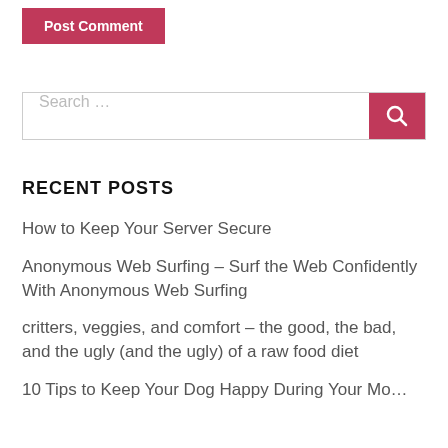Post Comment
Search …
RECENT POSTS
How to Keep Your Server Secure
Anonymous Web Surfing – Surf the Web Confidently With Anonymous Web Surfing
critters, veggies, and comfort – the good, the bad, and the ugly (and the ugly) of a raw food diet
10 Tips to Keep Your Dog Happy During Your Mo…